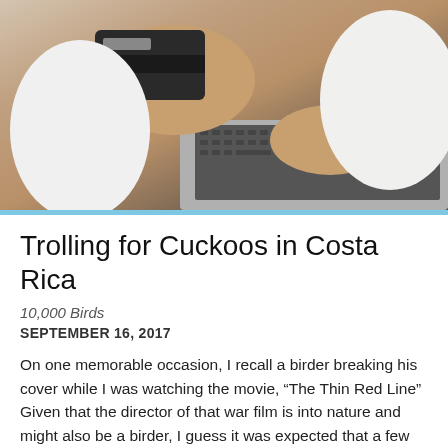[Figure (photo): Photo of a person's hands holding a credit card over a laptop keyboard, suggesting online shopping or payment]
Trolling for Cuckoos in Costa Rica
10,000 Birds
SEPTEMBER 16, 2017
On one memorable occasion, I recall a birder breaking his cover while I was watching the movie, “The Thin Red Line” Given that the director of that war film is into nature and might also be a birder, I guess it was expected that a few fantastic looking birds from the Solomon Islands would appear on the